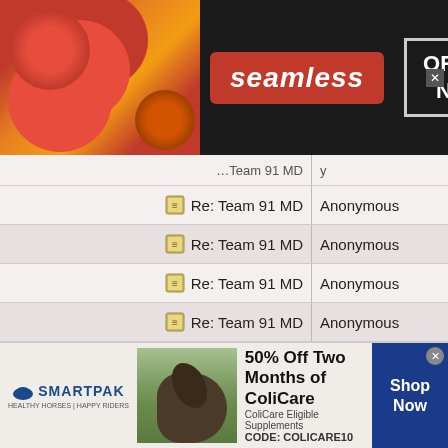[Figure (illustration): Seamless food delivery advertisement banner with pizza image, seamless logo in red, ORDER NOW box, and close button on dark background]
| Subject | Author |
| --- | --- |
| Re: Team 91 MD | Anonymous |
| Re: Team 91 MD | Anonymous |
| Re: Team 91 MD | Anonymous |
| Re: Team 91 MD | Anonymous |
| Re: Team 91 MD | Anonymous |
| Re: Team 91 MD | Anonymous |
| Re: Team 91 MD | Anonymous |
| Re: Team 91 MD | Anonymous |
| Re: Team 91 MD | Anonymous |
| Re: Team 91 MD | Anonymous |
[Figure (illustration): SmartPak advertisement with horse photo, 50% Off Two Months of ColiCare promotion, ColiCare Eligible Supplements, CODE: COLICARE10, Shop Now button]